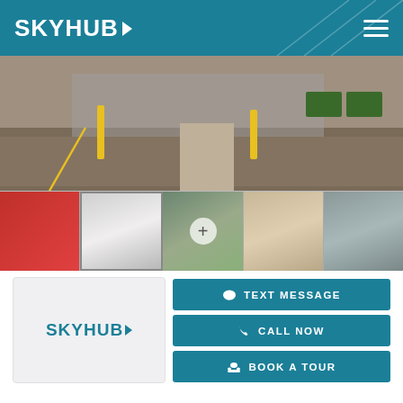SKYHUB
[Figure (photo): Exterior photo of a storage or commercial facility showing a parking area with yellow lines and walkway]
[Figure (photo): Thumbnail strip showing 5 images: red interior, grey exterior door, exterior building with plus icon, interior hallway, dark interior]
[Figure (logo): SKYHUB logo with teal text inside contact card]
TEXT MESSAGE
CALL NOW
BOOK A TOUR
REQUEST MORE INFORMATION
Name *
Phone *